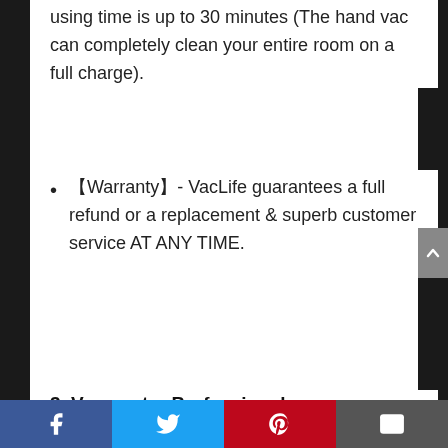using time is up to 30 minutes (The hand vac can completely clean your entire room on a full charge).
【Warranty】- VacLife guarantees a full refund or a replacement & superb customer service AT ANY TIME.
3. Vacmaster Professional – Professional Wet/Dry Vac, 5 Gallon, Beast Series, 5.5 HP 1-7/8" Hose Jobsite Vac (VFB511B0201)